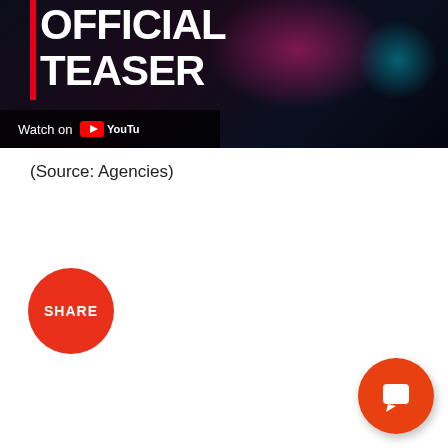[Figure (screenshot): YouTube video thumbnail showing 'OFFICIAL TEASER' text in large bold white letters on a dark background with a red vertical bar on the left. 'Watch on YouTube' label with YouTube logo is shown at the bottom left of the video.]
(Source: Agencies)
[Figure (other): Red circular SHARE button with white text]
[Figure (other): Orange-red circular chat/notification button with white chat bubble icon, positioned at bottom right]